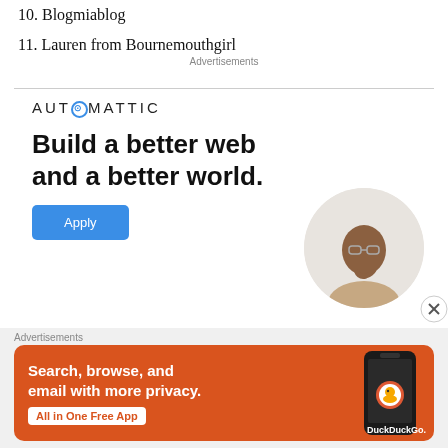10. Blogmiablog
11. Lauren from Bournemouthgirl
Advertisements
[Figure (infographic): Automattic advertisement: logo, 'Build a better web and a better world.' text, Apply button, and photo of a thinking man in a circle]
Advertisements
[Figure (infographic): DuckDuckGo advertisement: orange background, 'Search, browse, and email with more privacy. All in One Free App' text, smartphone image with DuckDuckGo logo]